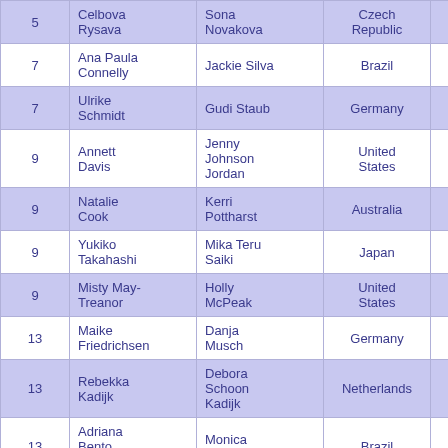| Rank | Player 1 | Player 2 | Country | # | Prize |  |
| --- | --- | --- | --- | --- | --- | --- |
| 5 | Celbova Rysava | Sona Novakova | Czech Republic | 16 | $8,000.00 |  |
| 7 | Ana Paula Connelly | Jackie Silva | Brazil | 14 | $6,000.00 |  |
| 7 | Ulrike Schmidt | Gudi Staub | Germany | 18 | $6,000.00 |  |
| 9 | Annett Davis | Jenny Johnson Jordan | United States | 2 | $4,500.00 |  |
| 9 | Natalie Cook | Kerri Pottharst | Australia | 3 | $4,500.00 |  |
| 9 | Yukiko Takahashi | Mika Teru Saiki | Japan | 8 | $4,500.00 |  |
| 9 | Misty May-Treanor | Holly McPeak | United States | 22 | $4,500.00 |  |
| 13 | Maike Friedrichsen | Danja Musch | Germany | 9 | $3,000.00 |  |
| 13 | Rebekka Kadijk | Debora Schoon Kadijk | Netherlands | 10 | $3,000.00 |  |
| 13 | Adriana Bento Buczmiejuk | Monica Paludo | Brazil | 13 | $3,000.00 |  |
| 13 |  |  |  | 21 | $3,000.00 |  |